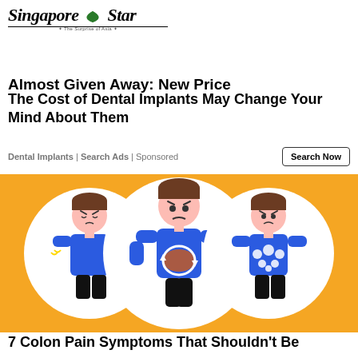Singapore Star — The Surprise of Asia
Almost Given Away: New Price
The Cost of Dental Implants May Change Your Mind About Them
Dental Implants | Search Ads | Sponsored
[Figure (illustration): Infographic showing three illustrated cartoon men on an orange background, each in a white circle. Left figure appears to be shivering/cold. Centre figure holds his stomach with a pain/cramp indicator. Right figure has bubbles on his torso indicating bloating.]
7 Colon Pain Symptoms That Shouldn't Be